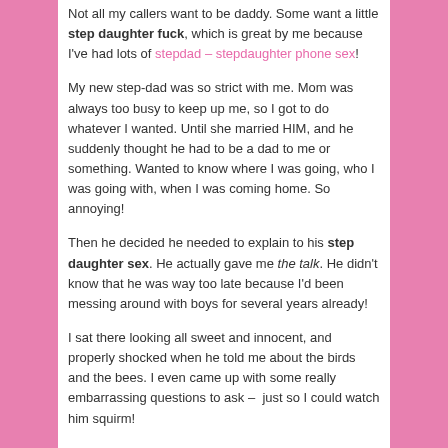Not all my callers want to be daddy. Some want a little step daughter fuck, which is great by me because I've had lots of stepdad – stepdaughter phone sex!
My new step-dad was so strict with me. Mom was always too busy to keep up me, so I got to do whatever I wanted. Until she married HIM, and he suddenly thought he had to be a dad to me or something. Wanted to know where I was going, who I was going with, when I was coming home. So annoying!
Then he decided he needed to explain to his step daughter sex. He actually gave me the talk. He didn't know that he was way too late because I'd been messing around with boys for several years already!
I sat there looking all sweet and innocent, and properly shocked when he told me about the birds and the bees. I even came up with some really embarrassing questions to ask –  just so I could watch him squirm!
“So daddy, what makes the boys penis hard?”